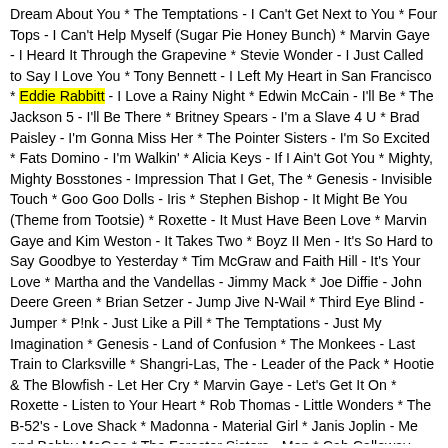Dream About You * The Temptations - I Can't Get Next to You * Four Tops - I Can't Help Myself (Sugar Pie Honey Bunch) * Marvin Gaye - I Heard It Through the Grapevine * Stevie Wonder - I Just Called to Say I Love You * Tony Bennett - I Left My Heart in San Francisco * Eddie Rabbitt - I Love a Rainy Night * Edwin McCain - I'll Be * The Jackson 5 - I'll Be There * Britney Spears - I'm a Slave 4 U * Brad Paisley - I'm Gonna Miss Her * The Pointer Sisters - I'm So Excited * Fats Domino - I'm Walkin' * Alicia Keys - If I Ain't Got You * Mighty, Mighty Bosstones - Impression That I Get, The * Genesis - Invisible Touch * Goo Goo Dolls - Iris * Stephen Bishop - It Might Be You (Theme from Tootsie) * Roxette - It Must Have Been Love * Marvin Gaye and Kim Weston - It Takes Two * Boyz II Men - It's So Hard to Say Goodbye to Yesterday * Tim McGraw and Faith Hill - It's Your Love * Martha and the Vandellas - Jimmy Mack * Joe Diffie - John Deere Green * Brian Setzer - Jump Jive N-Wail * Third Eye Blind - Jumper * P!nk - Just Like a Pill * The Temptations - Just My Imagination * Genesis - Land of Confusion * The Monkees - Last Train to Clarksville * Shangri-Las, The - Leader of the Pack * Hootie & The Blowfish - Let Her Cry * Marvin Gaye - Let's Get It On * Roxette - Listen to Your Heart * Rob Thomas - Little Wonders * The B-52's - Love Shack * Madonna - Material Girl * Janis Joplin - Me and Bobby McGee * The Forester Sisters - Men * Cab Calloway - Minnie the Moocher * Janet Jackson - Miss You Much * Inez Foxx And Charlie - Mockingbird * Barrett Strong - Money (That's What I Want) * Tommy James and the Shondells - Mony Mony * Fleetwoods - Mr. Blue * Angels, The - My Boyfriend's Back * The Four Seasons - My Eyes Adored